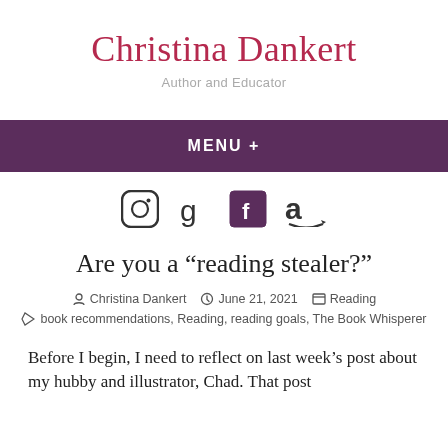Christina Dankert
Author and Educator
MENU +
[Figure (other): Social media icons: Instagram (circle with camera), Goodreads (g), Facebook (f in purple square), Amazon (a with arrow)]
Are you a “reading stealer?”
Christina Dankert   June 21, 2021   Reading
book recommendations, Reading, reading goals, The Book Whisperer
Before I begin, I need to reflect on last week’s post about my hubby and illustrator, Chad. That post